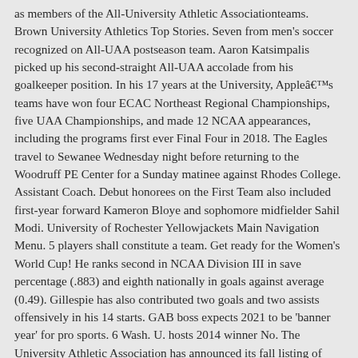as members of the All-University Athletic Associationteams. Brown University Athletics Top Stories. Seven from men's soccer recognized on All-UAA postseason team. Aaron Katsimpalis picked up his second-straight All-UAA accolade from his goalkeeper position. In his 17 years at the University, Appleâs teams have won four ECAC Northeast Regional Championships, five UAA Championships, and made 12 NCAA appearances, including the programs first ever Final Four in 2018. The Eagles travel to Sewanee Wednesday night before returning to the Woodruff PE Center for a Sunday matinee against Rhodes College. Assistant Coach. Debut honorees on the First Team also included first-year forward Kameron Bloye and sophomore midfielder Sahil Modi. University of Rochester Yellowjackets Main Navigation Menu. 5 players shall constitute a team. Get ready for the Women's World Cup! He ranks second in NCAA Division III in save percentage (.883) and eighth nationally in goals against average (0.49). Gillespie has also contributed two goals and two assists offensively in his 14 starts. GAB boss expects 2021 to be 'banner year' for pro sports. 6 Wash. U. hosts 2014 winner No. The University Athletic Association has announced its fall listing of student-athletes to be honored with All-Academic accolades. View Full Bio. Welcome to the home of U.S. Soccer, where you can find the latest USMNT and USWNT soccer news, rosters, tournament results, scoring highlights and much more.